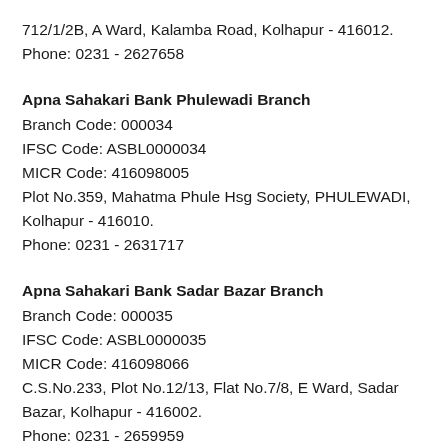712/1/2B, A Ward, Kalamba Road, Kolhapur - 416012.
Phone: 0231 - 2627658
Apna Sahakari Bank Phulewadi Branch
Branch Code: 000034
IFSC Code: ASBL0000034
MICR Code: 416098005
Plot No.359, Mahatma Phule Hsg Society, PHULEWADI,
Kolhapur - 416010.
Phone: 0231 - 2631717
Apna Sahakari Bank Sadar Bazar Branch
Branch Code: 000035
IFSC Code: ASBL0000035
MICR Code: 416098066
C.S.No.233, Plot No.12/13, Flat No.7/8, E Ward, Sadar
Bazar, Kolhapur - 416002.
Phone: 0231 - 2659959